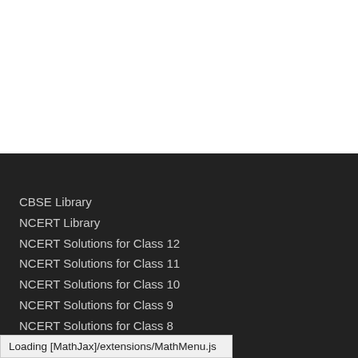CBSE Library
NCERT Library
NCERT Solutions for Class 12
NCERT Solutions for Class 11
NCERT Solutions for Class 10
NCERT Solutions for Class 9
NCERT Solutions for Class 8
NCERT Solutions for Class 7
Loading [MathJax]/extensions/MathMenu.js